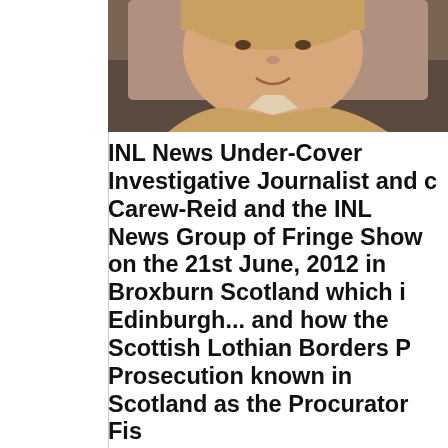[Figure (photo): Partial photograph of a person smiling, upper body visible, wearing a light-colored jacket, cropped at the top and right edge.]
INL News Under-Cover Investigative Journalist  and c... Carew-Reid and  the INL News Group of Fringe Show... on the 21st June, 2012 in  Broxburn Scotland which i... Edinburgh... and how the Scottish Lothian Borders P... Prosecution known in Scotland  as the Procurator Fis... media are clearly not looking closely enough the evid... trial of Kyle Montgomery heard from the 19th Novemb... Scotland's High Court in Livingston, who had been ch... Borders Police for the murder of Thomas Allwood ..th... strongly that Thomas Allwood was not murdered by K... Broxburn say is a well known local mentally depresse... 2.20am on the 21st July, 2012 ... as implied by his fath...  sworn evidence at by Kyle Montgomery's  trial... whe... independent evidence from two next door neighbours... John Montgomery's house in Galloway Cresent, Brox... that say they both heard and felt an enormous bang d...